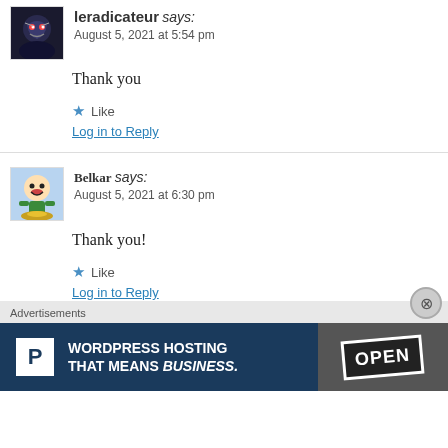leradicateur says: August 5, 2021 at 5:54 pm
Thank you
Like
Log in to Reply
Belkar says: August 5, 2021 at 6:30 pm
Thank you!
Like
Log in to Reply
Advertisements
[Figure (other): WordPress Hosting advertisement banner with P logo and OPEN sign photo]